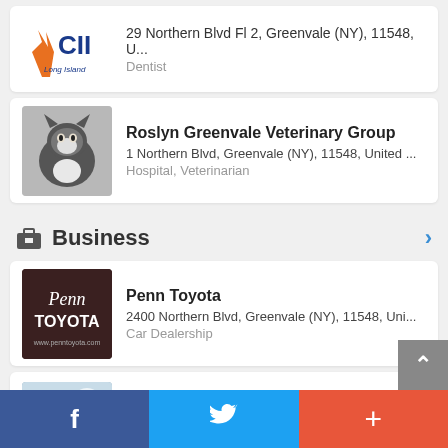29 Northern Blvd Fl 2, Greenvale (NY), 11548, U...
Dentist
Roslyn Greenvale Veterinary Group
1 Northern Blvd, Greenvale (NY), 11548, United ...
Hospital, Veterinarian
Business
Penn Toyota
2400 Northern Blvd, Greenvale (NY), 11548, Uni...
Car Dealership
East Hills Chrysler Jeep Dodge Ram SRT
2300 Northern Blvd, Greenvale (NY), 11548, Uni...